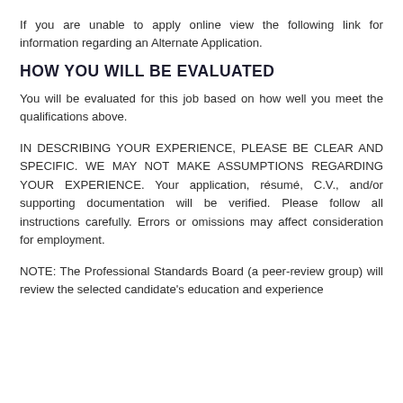If you are unable to apply online view the following link for information regarding an Alternate Application.
HOW YOU WILL BE EVALUATED
You will be evaluated for this job based on how well you meet the qualifications above.
IN DESCRIBING YOUR EXPERIENCE, PLEASE BE CLEAR AND SPECIFIC. WE MAY NOT MAKE ASSUMPTIONS REGARDING YOUR EXPERIENCE. Your application, résumé, C.V., and/or supporting documentation will be verified. Please follow all instructions carefully. Errors or omissions may affect consideration for employment.
NOTE: The Professional Standards Board (a peer-review group) will review the selected candidate's education and experience